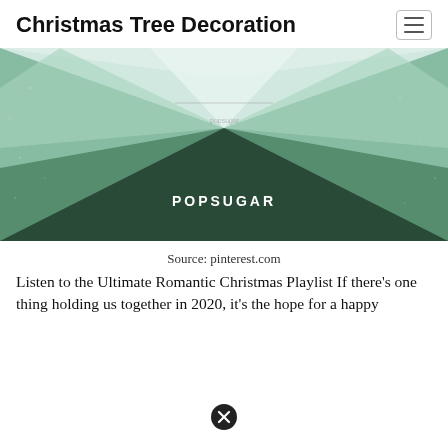Christmas Tree Decoration
[Figure (illustration): Decorative geometric illustration with mint/teal and dark green triangular shapes radiating outward with a distressed texture. 'POPSUGAR' text centered in dark green area at the bottom.]
Source: pinterest.com
Listen to the Ultimate Romantic Christmas Playlist If there’s one thing holding us together in 2020, it’s the hope for a happy